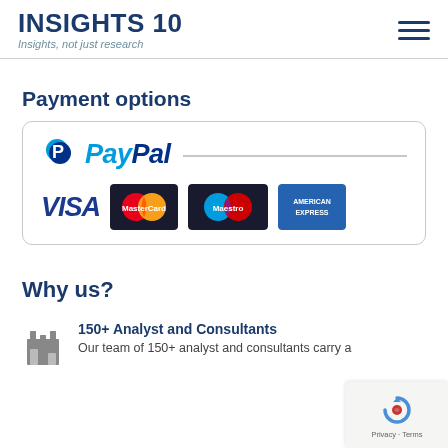INSIGHTS 10 — Insights, not just research
Payment options
[Figure (logo): Payment options logos: PayPal, VISA, MasterCard, Maestro, American Express inside a rounded rectangle border]
Why us?
[Figure (illustration): Factory/building icon]
150+ Analyst and Consultants
Our team of 150+ analyst and consultants carry a